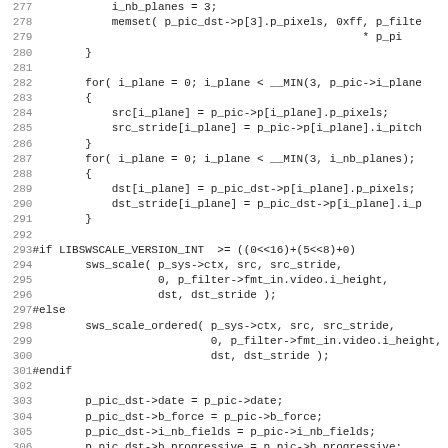[Figure (screenshot): Source code listing in monospace font showing C code lines 277-308, with line numbers on the left and code content on the right. Code includes loops, memset calls, sws_scale calls, and preprocessor directives.]